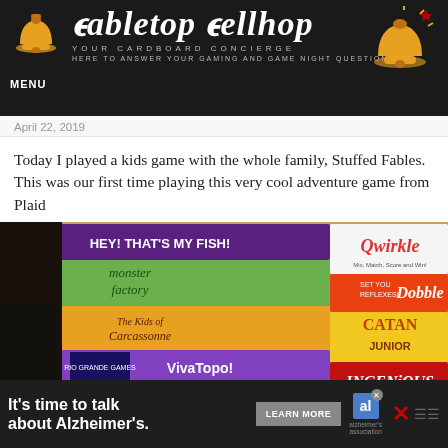Tabletop Bellhop — Your Cardboard Concierge. Here to answer your gaming and game night questions. MENU
April 22, 2019
Today I played a kids game with the whole family, Stuffed Fables. This was our first time playing this very cool adventure game from Plaid
[Figure (photo): Stack of board games including Hey That's My Fish!, Monster Factory, The Kids of Carcassonne, Qwirkle, Dobble, Catan Junior, VivaTopo, and Ingenious]
It's time to talk about Alzheimer's. LEARN MORE